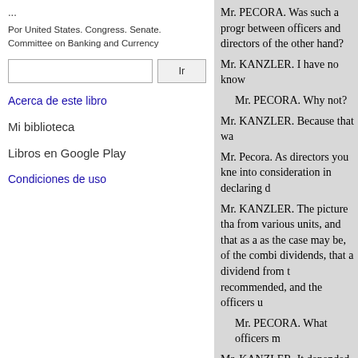...
Por United States. Congress. Senate. Committee on Banking and Currency
Ir
Acerca de este libro
Mi biblioteca
Libros en Google Play
Condiciones de uso
Mr. PECORA. Was such a progr between officers and directors of the other hand?
Mr. KANZLER. I have no know
Mr. PECORA. Why not?
Mr. KANZLER. Because that wa
Mr. Pecora. As directors you kne into consideration in declaring d
Mr. KANZLER. The picture tha from various units, and that as a as the case may be, of the combi dividends, that a dividend from t recommended, and the officers u
Mr. PECORA. What officers m
Mr. KANZLER. It depended upo way of dividends. Sometimes it r
Mr. PECORA. Do you refer to o
Mr. KANZLER. Of the group
Mr. Pecora. Officers of the grou of the group of the earnings of th